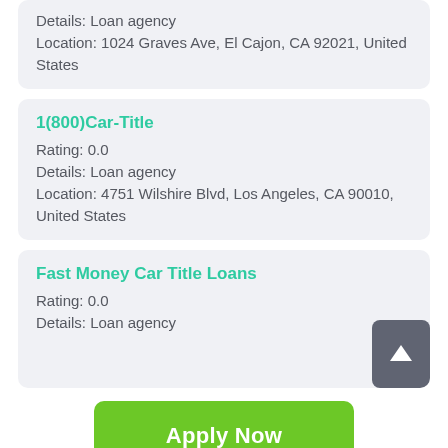Details: Loan agency
Location: 1024 Graves Ave, El Cajon, CA 92021, United States
1(800)Car-Title
Rating: 0.0
Details: Loan agency
Location: 4751 Wilshire Blvd, Los Angeles, CA 90010, United States
Fast Money Car Title Loans
Rating: 0.0
Details: Loan agency
Apply Now
Applying does NOT affect your credit score!
No credit check to apply.